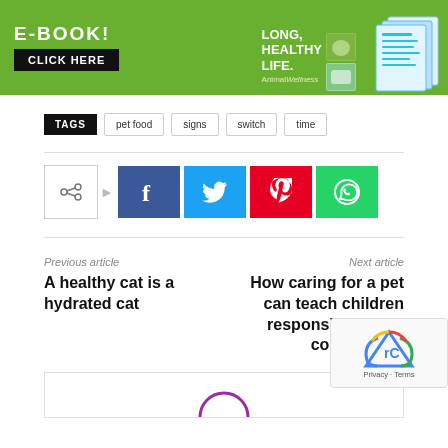[Figure (illustration): Green banner advertisement for an e-book with 'E-BOOK! CLICK HERE' button on left and 'LONG, HEALTHY LIFE.' text with animal/pet images and book graphic on right]
TAGS  pet food  signs  switch  time
[Figure (infographic): Social share buttons row: share icon box, arrow, then Facebook (blue), Twitter (cyan), Pinterest (red), WhatsApp (green) icon buttons]
Previous article
A healthy cat is a hydrated cat
Next article
How caring for a pet can teach children responsibility and compassion
[Figure (other): Bottom section with a comment/profile area showing top of a purple-bordered circular avatar]